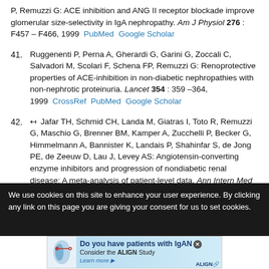P, Remuzzi G: ACE inhibition and ANG II receptor blockade improve glomerular size-selectivity in IgA nephropathy. Am J Physiol 276 : F457 – F466, 1999  PubMed  Google Scholar
41. Ruggenenti P, Perna A, Gherardi G, Garini G, Zoccali C, Salvadori M, Scolari F, Schena FP, Remuzzi G: Renoprotective properties of ACE-inhibition in non-diabetic nephropathies with non-nephrotic proteinuria. Lancet 354 : 359 –364, 1999  CrossRef  PubMed  Google Scholar
42. ↤ Jafar TH, Schmid CH, Landa M, Giatras I, Toto R, Remuzzi G, Maschio G, Brenner BM, Kamper A, Zucchelli P, Becker G, Himmelmann A, Bannister K, Landais P, Shahinfar S, de Jong PE, de Zeeuw D, Lau J, Levey AS: Angiotensin-converting enzyme inhibitors and progression of nondiabetic renal disease: A meta-analysis of patient-level data. Ann Intern Med 135 : 73 –87, 2001  CrossRef  PubMed  Google Scholar
43. ↤ Woo KT, Lau YK, Wong KS, Chiang GS: ACEI/ATRA therapy decreases
We use cookies on this site to enhance your user experience. By clicking any link on this page you are giving your consent for us to set cookies.
[Figure (infographic): Advertisement banner for ALIGN Study about IgAN patients with kidney illustration, teal/blue background]